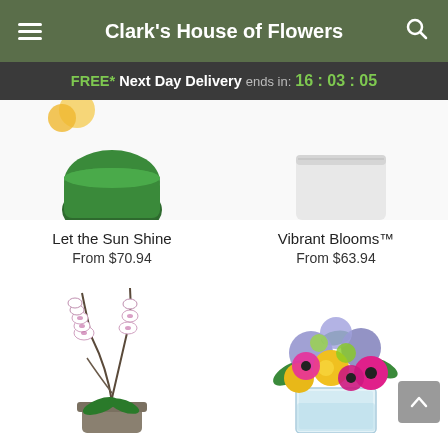Clark's House of Flowers
FREE* Next Day Delivery ends in: 16:03:05
[Figure (photo): Partial view of two flower product photos — left: green vase arrangement (Let the Sun Shine), right: white vase arrangement (Vibrant Blooms)]
Let the Sun Shine
From $70.94
Vibrant Blooms™
From $63.94
[Figure (photo): White phalaenopsis orchid plant in a grey stone-like pot with curving branches]
[Figure (photo): Vibrant mixed floral bouquet with yellow roses, pink gerberas, purple hydrangeas, and green accents in a clear glass cube vase]